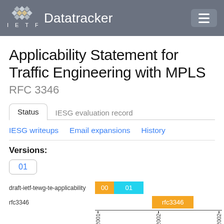IETF Datatracker
Applicability Statement for Traffic Engineering with MPLS
RFC 3346
Status | IESG evaluation record
IESG writeups   Email expansions   History
Versions:
01
[Figure (bar-chart): Version timeline]